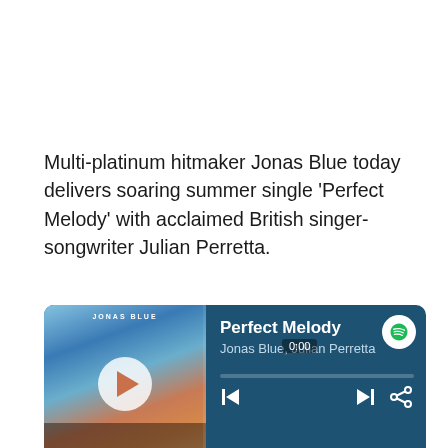Multi-platinum hitmaker Jonas Blue today delivers soaring summer single ‘Perfect Melody’ with acclaimed British singer-songwriter Julian Perretta.
[Figure (screenshot): Spotify player widget showing 'Perfect Melody' by Jonas Blue and Julian Perretta. Album art with a blue/orange gradient sky image and play button. Progress bar at 0:00. Controls include previous, next, and share buttons. Track listing shows: 1 Perfect Melody 2:39.]